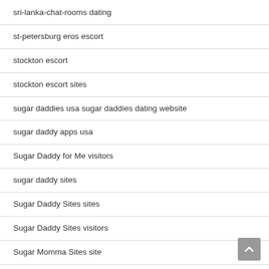sri-lanka-chat-rooms dating
st-petersburg eros escort
stockton escort
stockton escort sites
sugar daddies usa sugar daddies dating website
sugar daddy apps usa
Sugar Daddy for Me visitors
sugar daddy sites
Sugar Daddy Sites sites
Sugar Daddy Sites visitors
Sugar Momma Sites site
sugar-daddies search